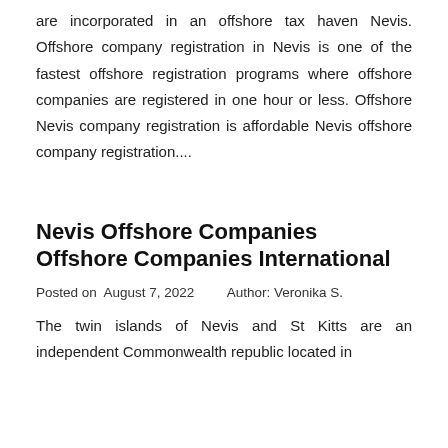are incorporated in an offshore tax haven Nevis. Offshore company registration in Nevis is one of the fastest offshore registration programs where offshore companies are registered in one hour or less. Offshore Nevis company registration is affordable Nevis offshore company registration....
Nevis Offshore Companies Offshore Companies International
Posted on  August 7, 2022    Author: Veronika S.
The twin islands of Nevis and St Kitts are an independent Commonwealth republic located in